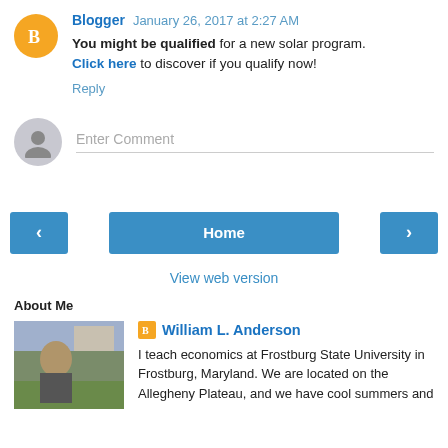Blogger  January 26, 2017 at 2:27 AM
You might be qualified for a new solar program. Click here to discover if you qualify now!
Reply
Enter Comment
< Home >
View web version
About Me
William L. Anderson
I teach economics at Frostburg State University in Frostburg, Maryland. We are located on the Allegheny Plateau, and we have cool summers and